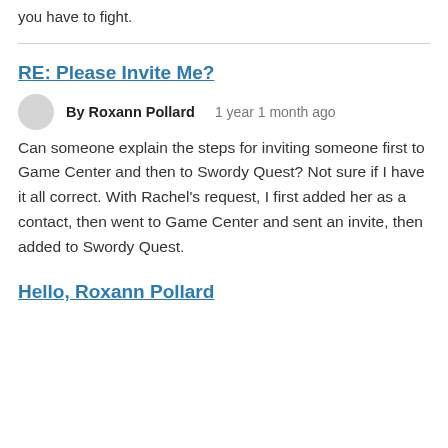you have to fight.
RE: Please Invite Me?
By Roxann Pollard   1 year 1 month ago
Can someone explain the steps for inviting someone first to Game Center and then to Swordy Quest? Not sure if I have it all correct. With Rachel's request, I first added her as a contact, then went to Game Center and sent an invite, then added to Swordy Quest.
Hello, Roxann Pollard